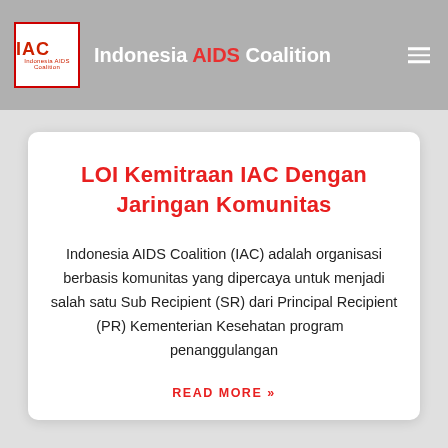Indonesia AIDS Coalition
LOI Kemitraan IAC Dengan Jaringan Komunitas
Indonesia AIDS Coalition (IAC) adalah organisasi berbasis komunitas yang dipercaya untuk menjadi salah satu Sub Recipient (SR) dari Principal Recipient (PR) Kementerian Kesehatan program  penanggulangan
READ MORE »